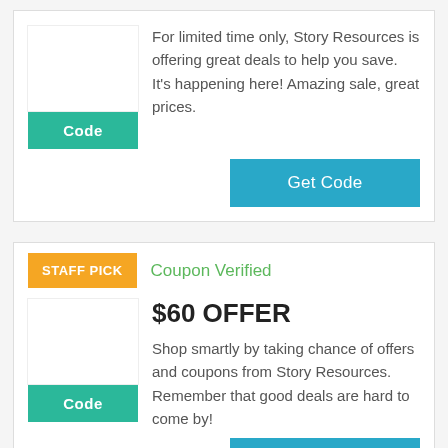For limited time only, Story Resources is offering great deals to help you save. It's happening here! Amazing sale, great prices.
Get Code
STAFF PICK
Coupon Verified
$60 OFFER
Shop smartly by taking chance of offers and coupons from Story Resources. Remember that good deals are hard to come by!
Get Code